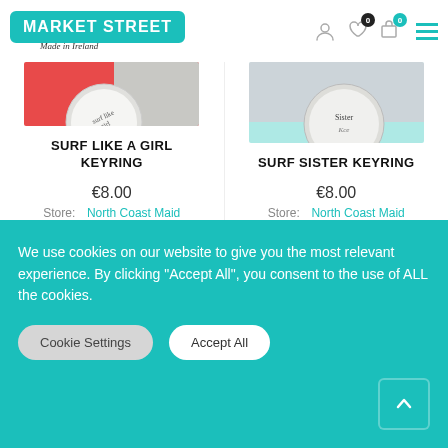Market Street — Made in Ireland
[Figure (photo): Photo of Surf Like A Girl keyring on red/coral background]
SURF LIKE A GIRL KEYRING
€8.00
Store: North Coast Maid
[Figure (photo): Photo of Surf Sister keyring on teal/colorful background]
SURF SISTER KEYRING
€8.00
Store: North Coast Maid
We use cookies on our website to give you the most relevant experience. By clicking “Accept All”, you consent to the use of ALL the cookies.